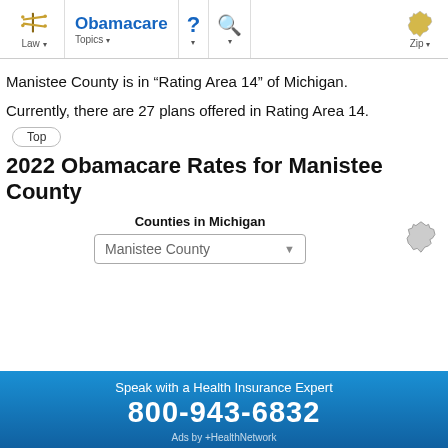Law | Obamacare Topics | ? | Search | Zip
Manistee County is in “Rating Area 14” of Michigan.
Currently, there are 27 plans offered in Rating Area 14.
Top
2022 Obamacare Rates for Manistee County
Counties in Michigan
Manistee County
Speak with a Health Insurance Expert
800-943-6832
Ads by +HealthNetwork